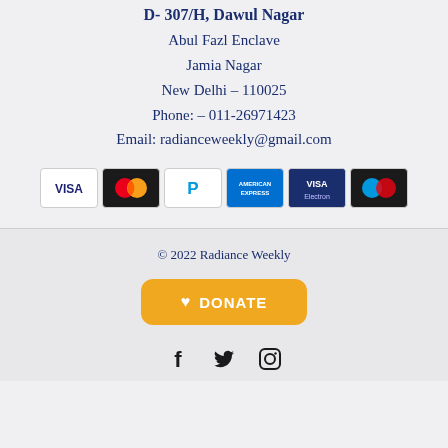D- 307/H, Dawul Nagar
Abul Fazl Enclave
Jamia Nagar
New Delhi – 110025
Phone: – 011-26971423
Email: radianceweekly@gmail.com
[Figure (logo): Payment method logos: VISA, MasterCard, PayPal, American Express, VISA Electron, Maestro]
© 2022 Radiance Weekly
[Figure (other): Orange DONATE button with heart icon]
[Figure (other): Social media icons: Facebook, Twitter, Instagram]